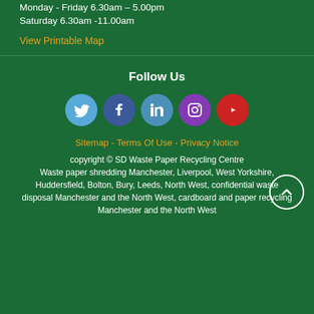Monday - Friday 6.30am – 5.00pm
Saturday 6.30am -11.00am
View Printable Map
Follow Us
[Figure (infographic): Social media icons: Twitter, Facebook, LinkedIn, Instagram, YouTube]
Sitemap - Terms Of Use - Privacy Notice
copyright © SD Waste Paper Recycling Centre Waste paper shredding Manchester, Liverpool, West Yorkshire, Huddersfield, Bolton, Bury, Leeds, North West, confidential waste disposal Manchester and the North West, cardboard and paper recycling Manchester and the North West